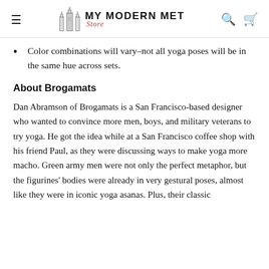MY MODERN MET Store
Color combinations will vary–not all yoga poses will be in the same hue across sets.
About Brogamats
Dan Abramson of Brogamats is a San Francisco-based designer who wanted to convince more men, boys, and military veterans to try yoga. He got the idea while at a San Francisco coffee shop with his friend Paul, as they were discussing ways to make yoga more macho. Green army men were not only the perfect metaphor, but the figurines' bodies were already in very gestural poses, almost like they were in iconic yoga asanas. Plus, their classic